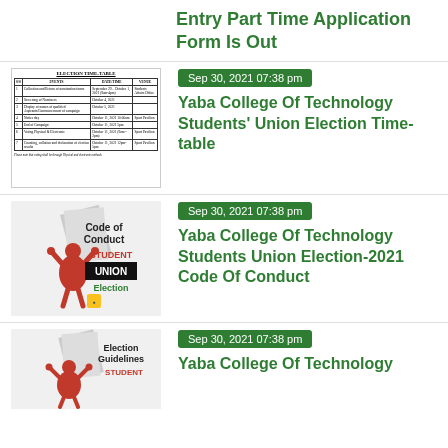Entry Part Time Application Form Is Out
Sep 30, 2021 07:38 pm
[Figure (table-as-image): Election timetable table showing events, dates/times, and venues]
Yaba College Of Technology Students' Union Election Time-table
Sep 30, 2021 07:38 pm
[Figure (illustration): Code of Conduct Student Union Election graphic with raised figure]
Yaba College Of Technology Students Union Election-2021 Code Of Conduct
Sep 30, 2021 07:38 pm
[Figure (illustration): Election Guidelines Student Union graphic with raised figure]
Yaba College Of Technology